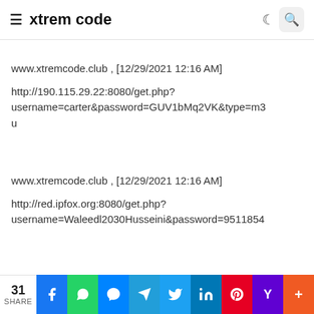≡ xtrem code
www.xtremcode.club , [12/29/2021 12:16 AM]
http://190.115.29.22:8080/get.php?username=carter&password=GUV1bMq2VK&type=m3u
www.xtremcode.club , [12/29/2021 12:16 AM]
http://red.ipfox.org:8080/get.php?username=Waleedl2030Husseini&password=9511854
31 SHARE | Facebook | WhatsApp | Messenger | Telegram | Twitter | LinkedIn | Pinterest | Yahoo | More